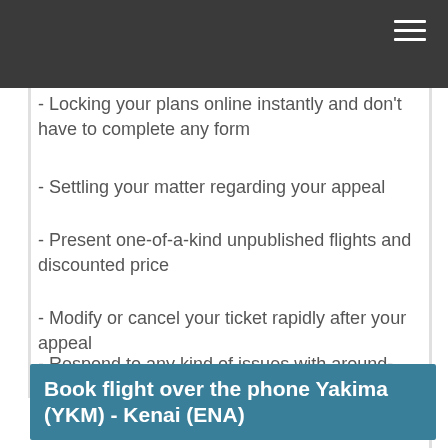- Locking your plans online instantly and don't have to complete any form
- Settling your matter regarding your appeal
- Present one-of-a-kind unpublished flights and discounted price
- Modify or cancel your ticket rapidly after your appeal
- Respond to any kind of issues with around-the-clock assistance
Book flight over the phone Yakima (YKM) - Kenai (ENA)